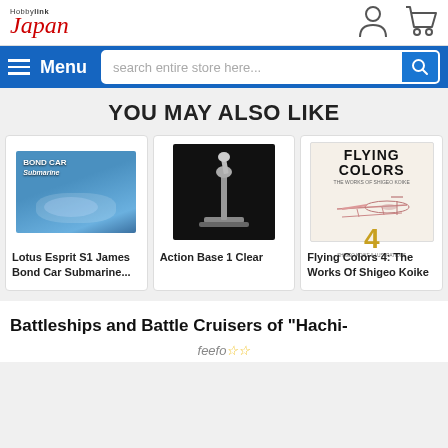[Figure (logo): HobbyLink Japan logo in red italic with Hobbylink text above in small black]
[Figure (screenshot): User account icon (person silhouette)]
[Figure (screenshot): Shopping cart icon]
Menu  search entire store here...
YOU MAY ALSO LIKE
[Figure (photo): Lotus Esprit S1 James Bond Car Submarine model image with blue underwater background and 'BOND CAR Submarine' text]
Lotus Esprit S1 James Bond Car Submarine...
[Figure (photo): Action Base 1 Clear plastic display stand on black background]
Action Base 1 Clear
[Figure (photo): Flying Colors 4: The Works Of Shigeo Koike book cover with biplane illustration]
Flying Colors 4: The Works Of Shigeo Koike
Battleships and Battle Cruisers of "Hachi-